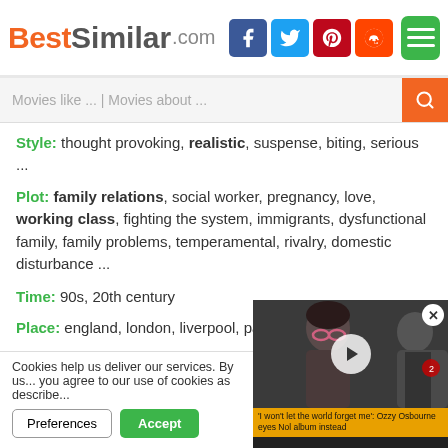BestSimilar.com
Style: thought provoking, realistic, suspense, biting, serious ...
Plot: family relations, social worker, pregnancy, love, working class, fighting the system, immigrants, dysfunctional family, family problems, temperamental, rivalry, domestic disturbance ...
Time: 90s, 20th century
Place: england, london, liverpool, paraguay, california
[Figure (other): Dark rounded rectangle button with play arrows and text MOVIE]
↕ similarity ↕
Cookies help us deliver our services. By us... you agree to our use of cookies as describe...
[Figure (photo): Video thumbnail overlay showing a person with dark hair wearing pink glasses, with a play button. Caption reads: 'I won't let the world forget me': Ozzy Osbourne eyes Nol album instead]